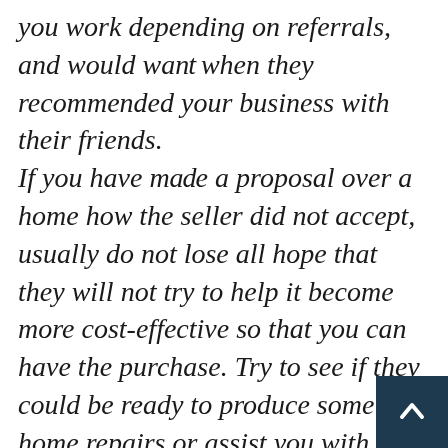you work depending on referrals, and would want when they recommended your business with their friends. If you have made a proposal over a home how the seller did not accept, usually do not lose all hope that they will not try to help it become more cost-effective so that you can have the purchase. Try to see if they could be ready to produce some home repairs or assist you with the expenses related to the closing. Exercise flexibility when coming up with decisions. You can find trade-offs that must sometimes be made between buying in the particular neighborhood, buying the